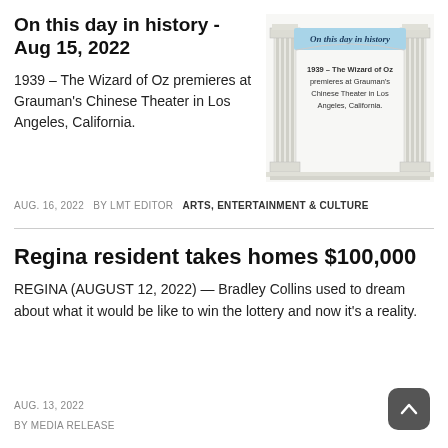On this day in history - Aug 15, 2022
1939 – The Wizard of Oz premieres at Grauman's Chinese Theater in Los Angeles, California.
[Figure (illustration): Decorative Greek/Roman column archway illustration with blue banner text 'On this day in history' and text '1939 – The Wizard of Oz premieres at Grauman's Chinese Theater in Los Angeles, California.']
AUG. 16, 2022  BY LMT EDITOR  ARTS, ENTERTAINMENT & CULTURE
Regina resident takes homes $100,000
REGINA (AUGUST 12, 2022) — Bradley Collins used to dream about what it would be like to win the lottery and now it's a reality.
AUG. 13, 2022
BY MEDIA RELEASE